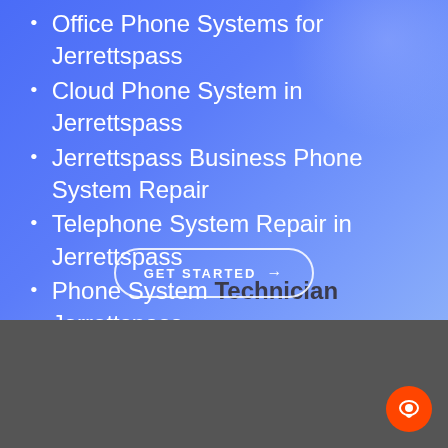Office Phone Systems for Jerrettspass
Cloud Phone System in Jerrettspass
Jerrettspass Business Phone System Repair
Telephone System Repair in Jerrettspass
Phone System Technician Jerrettspass
GET STARTED →